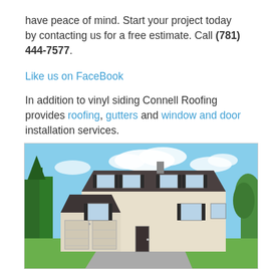have peace of mind. Start your project today by contacting us for a free estimate. Call (781) 444-7577.
Like us on FaceBook
In addition to vinyl siding Connell Roofing provides roofing, gutters and window and door installation services.
[Figure (photo): Exterior photo of a two-story colonial style house with beige vinyl siding, dark shutters, two-car garage, dark shingle roof, and green lawn on a sunny day.]